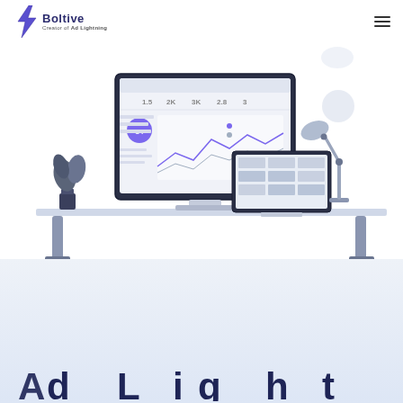[Figure (logo): Boltive logo with lightning bolt icon and text 'Boltive Creator of Ad Lightning']
[Figure (illustration): Flat design illustration of a desktop computer showing an analytics dashboard with line charts and metrics, a tablet/laptop showing a grid interface, a desk lamp, and a plant on a white desk]
[Figure (other): Partial view of large bold text at bottom of page, beginning of a headline]